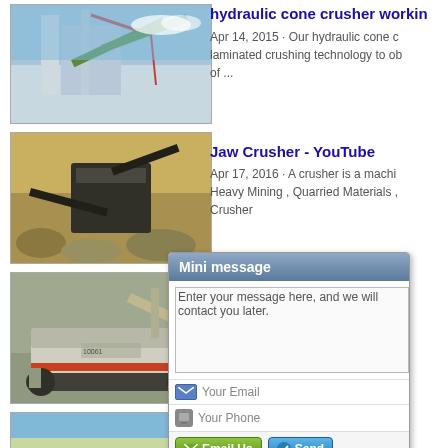[Figure (photo): Industrial facility with conveyor belts and tall structures against blue sky]
[Figure (photo): Jaw crusher machine operating in a quarry with rocky terrain]
[Figure (photo): Mobile cone crusher machine on tracks in a quarry]
[Figure (photo): Partial view of equipment against blue sky]
hydraulic cone crusher workin
Apr 14, 2015 · Our hydraulic cone crusher uses laminated crushing technology to ob of ...
Jaw Crusher - YouTube
Apr 17, 2016 · A crusher is a machine Heavy Mining , Quarried Materials , Crusher
Cone Crusher
3. Laminated crushing of materials protection area
Crusher
[Figure (screenshot): Mini message popup overlay with text area, email and phone fields, and Email Us / Send buttons]